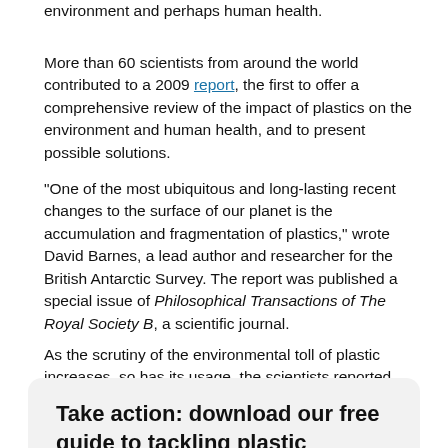environment and perhaps human health.
More than 60 scientists from around the world contributed to a 2009 report, the first to offer a comprehensive review of the impact of plastics on the environment and human health, and to present possible solutions.
"One of the most ubiquitous and long-lasting recent changes to the surface of our planet is the accumulation and fragmentation of plastics," wrote David Barnes, a lead author and researcher for the British Antarctic Survey. The report was published a special issue of Philosophical Transactions of The Royal Society B, a scientific journal.
As the scrutiny of the environmental toll of plastic increases, so has its usage, the scientists reported.
Take action: download our free guide to tackling plastic pollution